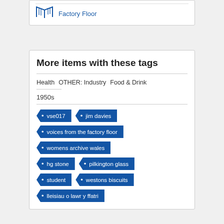[Figure (other): Icon of an open book with lines suggesting pages, in blue outline style]
Factory Floor
More items with these tags
Health   OTHER: Industry   Food & Drink
1950s
vse017
jim davies
voices from the factory floor
womens archive wales
hg stone
pilkington glass
student
westons biscuits
lleisiau o lawr y ffatri